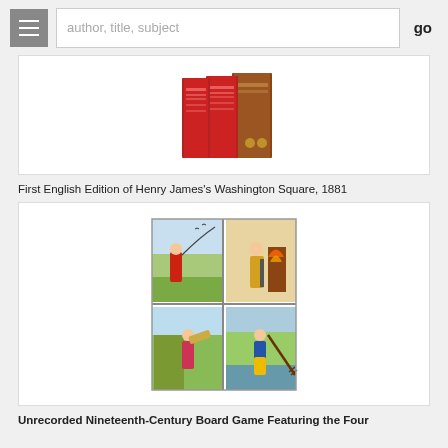author, title, subject  go
[Figure (photo): Photo of First English Edition of Henry James's Washington Square, 1881 — showing two red and one brown book spines standing upright]
First English Edition of Henry James's Washington Square, 1881
[Figure (photo): Photo of Unrecorded Nineteenth-Century Board Game Featuring the Four Seasons — four illustrated tiles showing figures engaged in seasonal activities]
Unrecorded Nineteenth-Century Board Game Featuring the Four